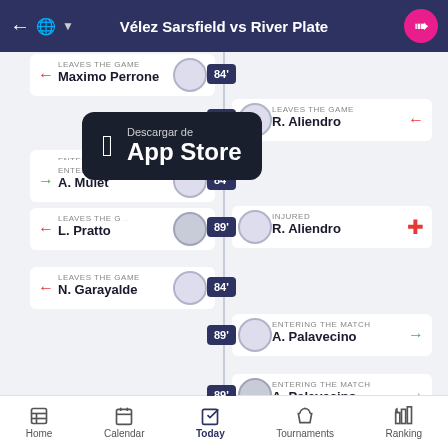Vélez Sarsfield vs River Plate
[Figure (screenshot): Match timeline showing substitutions and events. Left side (Vélez): 91' S. Cas entering, 91' L. Pratto leaves. Right side (River Plate): 89' A. Palavecino entering, 89' R. Aliendro leaves, 89' R. Aliendro injured. Left side: 84' Maximo Perrone leaves, 84' A. Mulet entering, 84' N. Garayalde leaves.]
[Figure (screenshot): App Store download overlay showing 'Descargar de App Store' with Apple logo]
Home | Calendar | Today | Tournaments | Ranking